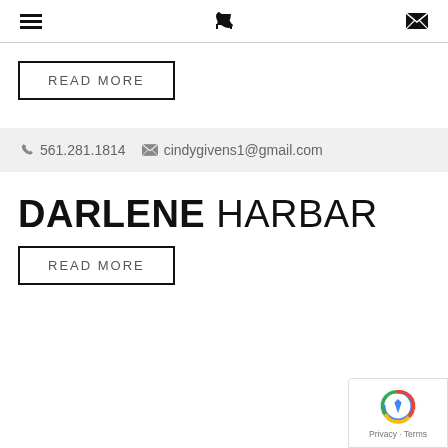[hamburger menu icon] [phone icon] [envelope icon]
READ MORE
561.281.1814   cindygivens1@gmail.com
DARLENE HARBAR
READ MORE